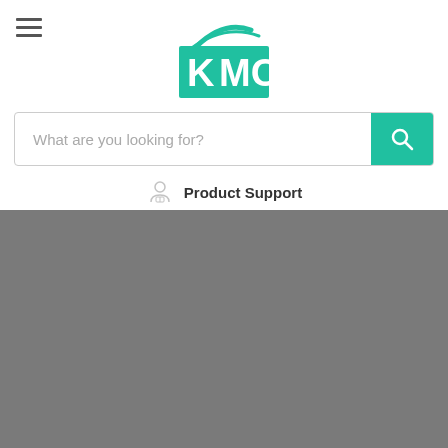[Figure (logo): KMC logo with teal/green color and stylized swoosh above letters K M C in a teal rectangle]
What are you looking for?
Product Support
[Figure (photo): Large gray/grey rectangular area occupying the bottom portion of the page]